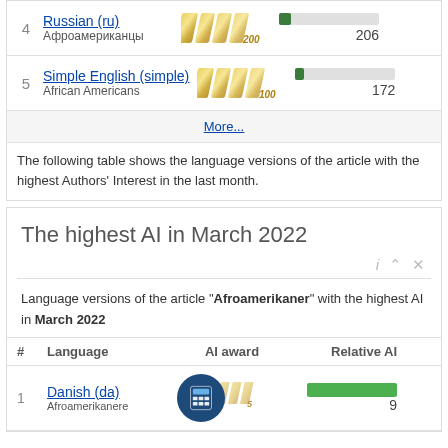4 Russian (ru) Афроамериканцы — AI award 200, 206
5 Simple English (simple) African Americans — AI award 100, 172
More...
The following table shows the language versions of the article with the highest Authors' Interest in the last month.
The highest AI in March 2022
Language versions of the article "Afroamerikaner" with the highest AI in March 2022
| # | Language | AI award | Relative AI |
| --- | --- | --- | --- |
| 1 | Danish (da)
Afroamerikanere | 5 | 9 |